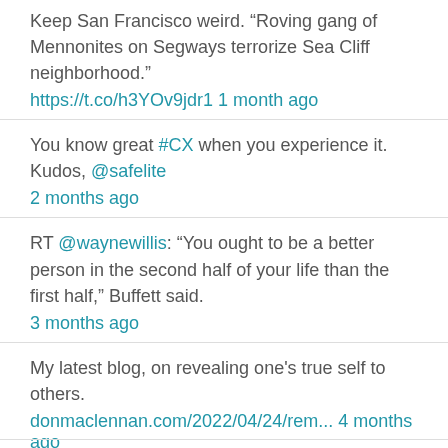Keep San Francisco weird. “Roving gang of Mennonites on Segways terrorize Sea Cliff neighborhood.” https://t.co/h3YOv9jdr1 1 month ago
You know great #CX when you experience it. Kudos, @safelite 2 months ago
RT @waynewillis: “You ought to be a better person in the second half of your life than the first half,” Buffett said. 3 months ago
My latest blog, on revealing one's true self to others. donmaclennan.com/2022/04/24/rem... 4 months ago
Follow @donmaclennan